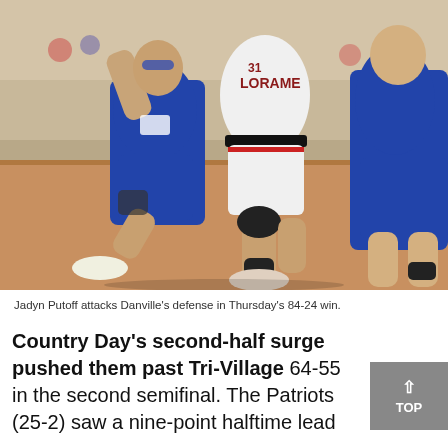[Figure (photo): Basketball game action photo showing a St. Loramie player in white uniform attacking with the ball while two Danville players in blue uniforms defend. The St. Loramie player is wearing a knee brace and is elevated mid-drive.]
Jadyn Putoff attacks Danville's defense in Thursday's 84-24 win.
Country Day's second-half surge pushed them past Tri-Village 64-55 in the second semifinal. The Patriots (25-2) saw a nine-point halftime lead